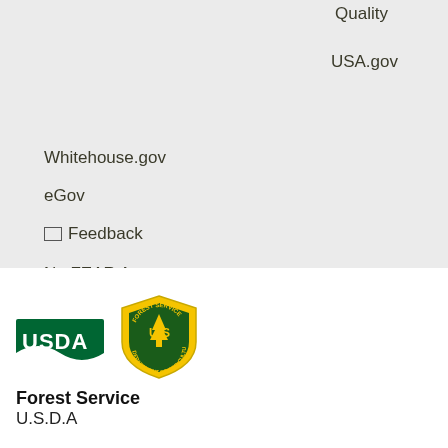Quality
USA.gov
Whitehouse.gov
eGov
✉ Feedback
No FEAR Act Data
[Figure (logo): USDA logo and US Forest Service shield badge logo side by side]
Forest Service
U.S.D.A